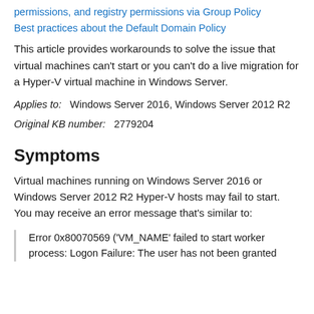permissions, and registry permissions via Group Policy
Best practices about the Default Domain Policy
This article provides workarounds to solve the issue that virtual machines can't start or you can't do a live migration for a Hyper-V virtual machine in Windows Server.
Applies to:   Windows Server 2016, Windows Server 2012 R2
Original KB number:   2779204
Symptoms
Virtual machines running on Windows Server 2016 or Windows Server 2012 R2 Hyper-V hosts may fail to start. You may receive an error message that's similar to:
Error 0x80070569 ('VM_NAME' failed to start worker process: Logon Failure: The user has not been granted